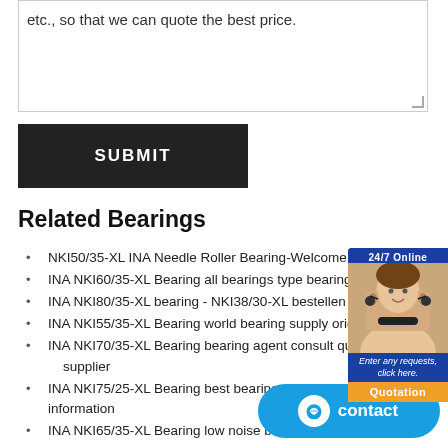etc., so that we can quote the best price.
SUBMIT
Related Bearings
NKI50/35-XL INA Needle Roller Bearing-Welcome To HongKo
INA NKI60/35-XL Bearing all bearings type bearing expert inqu
INA NKI80/35-XL bearing - NKI38/30-XL bestellen bij
INA NKI55/35-XL Bearing world bearing supply original bearin
INA NKI70/35-XL Bearing bearing agent consult quality bearina supplier
INA NKI75/25-XL Bearing best bearing supplier bearing information
INA NKI65/35-XL Bearing low noise bearing bearing cheaper
INA NKI35/30-XL Bearing bearing service company search bearing
INA NKI65/25-XL Bearing beat sale bearing bearing online
INA NKI32/30-XL bearing stock,INA NKI32/30-XL supplier
INA NKIS55-XL Bearing bearing global purchase o now
INA NKI60/25-XL Bearing bearing sale bearing corporation